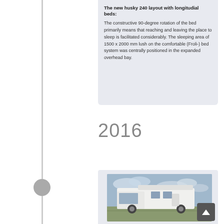The new husky 240 layout with longitudial beds:
The constructive 90-degree rotation of the bed primarily means that reaching and leaving the place to sleep is facilitated considerably. The sleeping area of 1500 x 2000 mm lush on the comfortable (Froli-) bed system was centrally positioned in the expanded overhead bay.
2016
[Figure (photo): A white motorhome/camper van photographed outdoors on a flat landscape under a cloudy sky.]